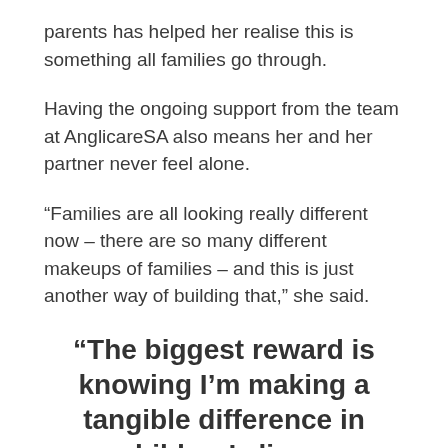parents has helped her realise this is something all families go through.
Having the ongoing support from the team at AnglicareSA also means her and her partner never feel alone.
“Families are all looking really different now – there are so many different makeups of families – and this is just another way of building that,” she said.
“The biggest reward is knowing I’m making a tangible difference in children’s lives.